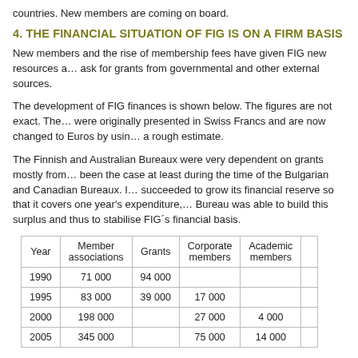countries. New members are coming on board.
4. THE FINANCIAL SITUATION OF FIG IS ON A FIRM BASIS
New members and the rise of membership fees have given FIG new resources a… ask for grants from governmental and other external sources.
The development of FIG finances is shown below. The figures are not exact. The… were originally presented in Swiss Francs and are now changed to Euros by using… a rough estimate.
The Finnish and Australian Bureaux were very dependent on grants mostly from… been the case at least during the time of the Bulgarian and Canadian Bureaux. I… succeeded to grow its financial reserve so that it covers one year's expenditure,… Bureau was able to build this surplus and thus to stabilise FIG´s financial basis.
| Year | Member associations | Grants | Corporate members | Academic members |  |
| --- | --- | --- | --- | --- | --- |
| 1990 | 71 000 | 94 000 |  |  |  |
| 1995 | 83 000 | 39 000 | 17 000 |  |  |
| 2000 | 198 000 |  | 27 000 | 4 000 |  |
| 2005 | 345 000 |  | 75 000 | 14 000 |  |